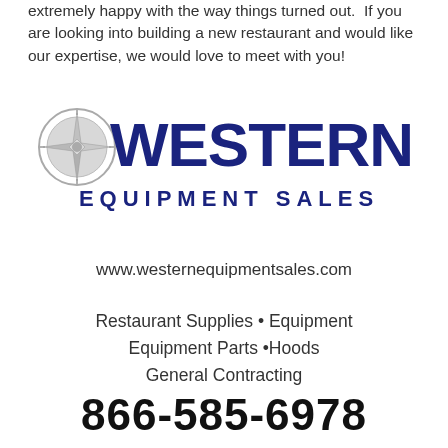extremely happy with the way things turned out.  If you are looking into building a new restaurant and would like our expertise, we would love to meet with you!
[Figure (logo): Western Equipment Sales logo with compass rose graphic and bold blue WESTERN text above EQUIPMENT SALES subtitle]
www.westernequipmentsales.com
Restaurant Supplies • Equipment
Equipment Parts •Hoods
General Contracting
866-585-6978